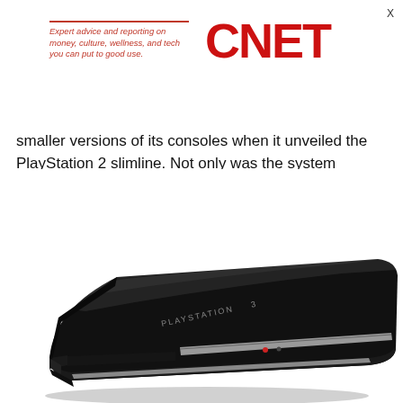X
[Figure (logo): CNET logo with tagline: Expert advice and reporting on money, culture, wellness, and tech you can put to good use.]
smaller versions of its consoles when it unveiled the PlayStation 2 slimline. Not only was the system smaller, but it was also quieter and included a built-in Ethernet port.
[Figure (photo): Photo of a black PlayStation 3 console viewed from a 3/4 angle, showing the glossy top surface with PLAYSTATION 3 branding and disc slot on the front edge.]